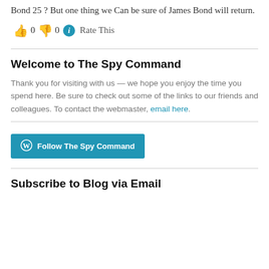Bond 25 ? But one thing we Can be sure of James Bond will return.
👍 0 👎 0 ℹ Rate This
Welcome to The Spy Command
Thank you for visiting with us — we hope you enjoy the time you spend here. Be sure to check out some of the links to our friends and colleagues. To contact the webmaster, email here.
[Figure (other): Follow The Spy Command button with WordPress logo]
Subscribe to Blog via Email